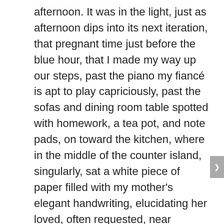afternoon. It was in the light, just as afternoon dips into its next iteration, that pregnant time just before the blue hour, that I made my way up our steps, past the piano my fiancé is apt to play capriciously, past the sofas and dining room table spotted with homework, a tea pot, and note pads, on toward the kitchen, where in the middle of the counter island, singularly, sat a white piece of paper filled with my mother's elegant handwriting, elucidating her loved, often requested, near legendary recipe for lasagna.  Without any other provocation, or the most minuscule of time's moments passing I began to weep.
The ingredients—listed in my mother's graceful cursive, shaped by a European birth, life as a WW